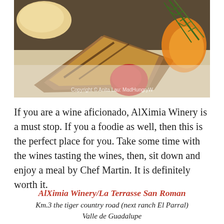[Figure (photo): Close-up food photo of grilled or pan-seared fish/meat on a white plate with a red sauce, rosemary garnish, and orange slice. Copyright watermark reads 'Copyright © Anita Lau: MadHungryW...']
If you are a wine aficionado, AlXimia Winery is a must stop. If you a foodie as well, then this is the perfect place for you. Take some time with the wines tasting the wines, then, sit down and enjoy a meal by Chef Martin. It is definitely worth it.
AlXimia Winery/La Terrasse San Roman
Km.3 the tiger country road (next ranch El Parral)
Valle de Guadalupe
Baja California, Mexico, CP 22766